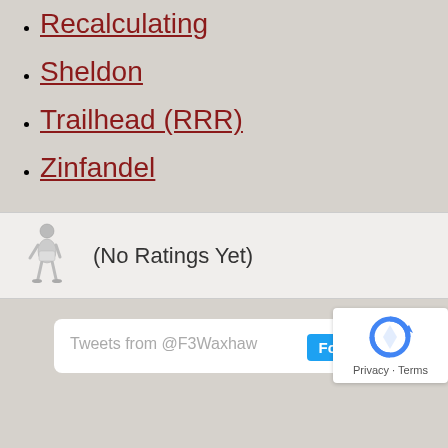Recalculating
Sheldon
Trailhead (RRR)
Zinfandel
(No Ratings Yet)
Tweets from @F3Waxhaw
Follow